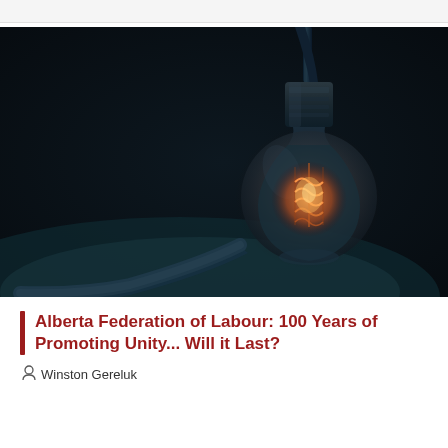[Figure (photo): Dark photograph of a glowing Edison-style incandescent light bulb hanging from a wire against a near-black background with subtle teal/green tones at the bottom]
Alberta Federation of Labour: 100 Years of Promoting Unity... Will it Last?
Winston Gereluk